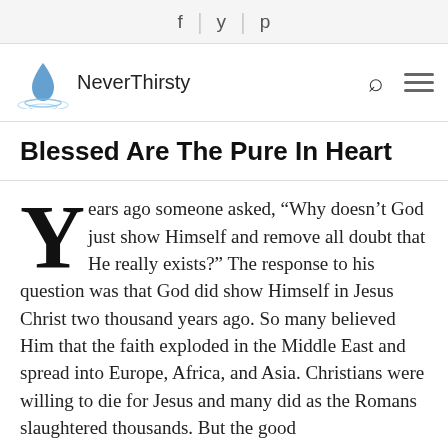f | y | p (social icons)
[Figure (logo): NeverThirsty logo with water drop graphic and site name]
Blessed Are The Pure In Heart
Years ago someone asked, “Why doesn’t God just show Himself and remove all doubt that He really exists?” The response to his question was that God did show Himself in Jesus Christ two thousand years ago. So many believed Him that the faith exploded in the Middle East and spread into Europe, Africa, and Asia. Christians were willing to die for Jesus and many did as the Romans slaughtered thousands. But the good